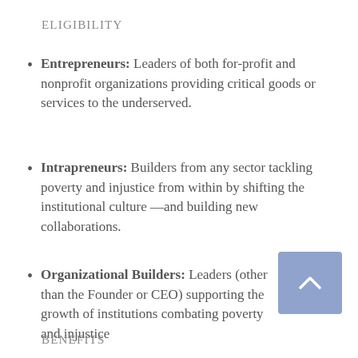ELIGIBILITY
Entrepreneurs: Leaders of both for-profit and nonprofit organizations providing critical goods or services to the underserved.
Intrapreneurs: Builders from any sector tackling poverty and injustice from within by shifting the institutional culture —and building new collaborations.
Organizational Builders: Leaders (other than the Founder or CEO) supporting the growth of institutions combating poverty and injustice
BENEFITS